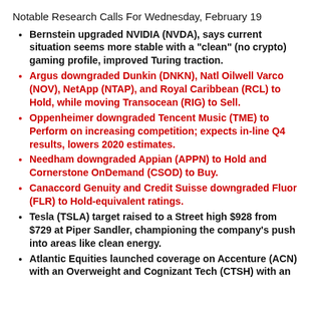Notable Research Calls For Wednesday, February 19
Bernstein upgraded NVIDIA (NVDA), says current situation seems more stable with a "clean" (no crypto) gaming profile, improved Turing traction.
Argus downgraded Dunkin (DNKN), Natl Oilwell Varco (NOV), NetApp (NTAP), and Royal Caribbean (RCL) to Hold, while moving Transocean (RIG) to Sell.
Oppenheimer downgraded Tencent Music (TME) to Perform on increasing competition; expects in-line Q4 results, lowers 2020 estimates.
Needham downgraded Appian (APPN) to Hold and Cornerstone OnDemand (CSOD) to Buy.
Canaccord Genuity and Credit Suisse downgraded Fluor (FLR) to Hold-equivalent ratings.
Tesla (TSLA) target raised to a Street high $928 from $729 at Piper Sandler, championing the company's push into areas like clean energy.
Atlantic Equities launched coverage on Accenture (ACN) with an Overweight and Cognizant Tech (CTSH) with an